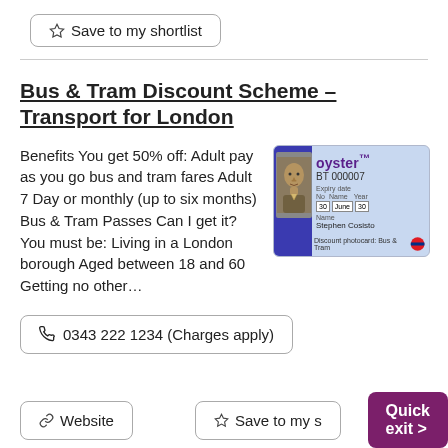☆ Save to my shortlist
Bus & Tram Discount Scheme - Transport for London
Benefits You get 50% off: Adult pay as you go bus and tram fares Adult 7 Day or monthly (up to six months) Bus & Tram Passes Can I get it? You must be: Living in a London borough Aged between 18 and 60 Getting no other...
[Figure (photo): Oyster BT discount photocard showing a man's photo, card number BT 000007, expiry date 30 June, name Stephen Cosisto, with 'Discount photocard: Bus & Tram' text and TfL roundel logo]
📞 0343 222 1234 (Charges apply)
🔗 Website
☆ Save to my s
Quick exit >